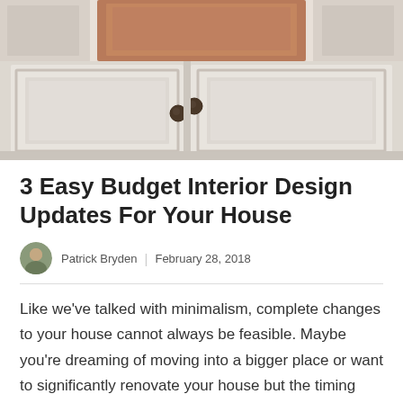[Figure (photo): Close-up photo of white kitchen cabinet doors with bronze/dark round knobs and a brown copper/wood panel visible at the top]
3 Easy Budget Interior Design Updates For Your House
Patrick Bryden  |  February 28, 2018
Like we've talked with minimalism, complete changes to your house cannot always be feasible. Maybe you're dreaming of moving into a bigger place or want to significantly renovate your house but the timing isn't right. No problem. It happens to the best …